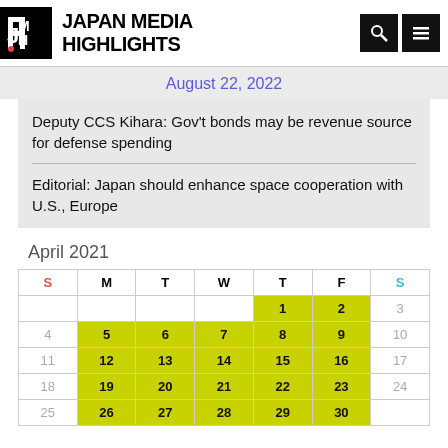JAPAN MEDIA HIGHLIGHTS
August 22, 2022
Deputy CCS Kihara: Gov't bonds may be revenue source for defense spending
Editorial: Japan should enhance space cooperation with U.S., Europe
| S | M | T | W | T | F | S |
| --- | --- | --- | --- | --- | --- | --- |
|  |  |  |  | 1 | 2 | 3 |
| 4 | 5 | 6 | 7 | 8 | 9 | 10 |
| 11 | 12 | 13 | 14 | 15 | 16 | 17 |
| 18 | 19 | 20 | 21 | 22 | 23 | 24 |
| 25 | 26 | 27 | 28 | 29 | 30 |  |